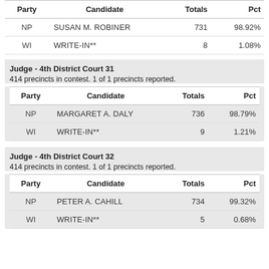| Party | Candidate | Totals | Pct |
| --- | --- | --- | --- |
| NP | SUSAN M. ROBINER | 731 | 98.92% |
| WI | WRITE-IN** | 8 | 1.08% |
Judge - 4th District Court 31
414 precincts in contest. 1 of 1 precincts reported.
| Party | Candidate | Totals | Pct |
| --- | --- | --- | --- |
| NP | MARGARET A. DALY | 736 | 98.79% |
| WI | WRITE-IN** | 9 | 1.21% |
Judge - 4th District Court 32
414 precincts in contest. 1 of 1 precincts reported.
| Party | Candidate | Totals | Pct |
| --- | --- | --- | --- |
| NP | PETER A. CAHILL | 734 | 99.32% |
| WI | WRITE-IN** | 5 | 0.68% |